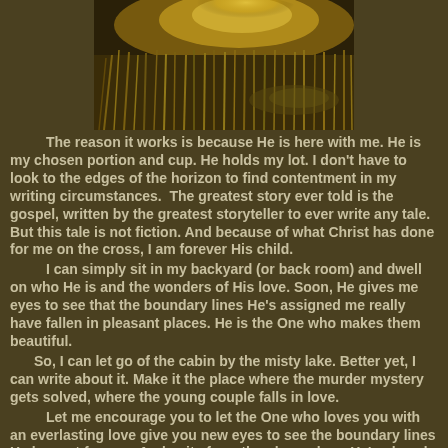[Figure (photo): Landscape photo showing grassy marshland or field with golden light, viewed from above or at an angle. Brown and golden tones with dark background.]
The reason it works is because He is here with me. He is my chosen portion and cup. He holds my lot. I don't have to look to the edges of the horizon to find contentment in my writing circumstances.  The greatest story ever told is the gospel, written by the greatest storyteller to ever write any tale. But this tale is not fiction. And because of what Christ has done for me on the cross, I am forever His child.
	I can simply sit in my backyard (or back room) and dwell on who He is and the wonders of His love. Soon, He gives me eyes to see that the boundary lines He's assigned me really have fallen in pleasant places. He is the One who makes them beautiful.
	So, I can let go of the cabin by the misty lake. Better yet, I can write about it. Make it the place where the murder mystery gets solved, where the young couple falls in love.
	Let me encourage you to let the One who loves you with an everlasting love give you new eyes to see the boundary lines He has set for you. And write from the place where He's placed you, knowing that He is there...